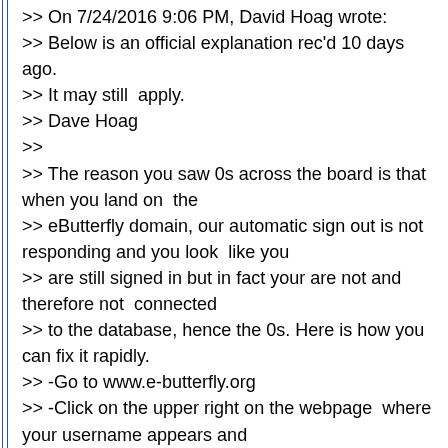>> On 7/24/2016 9:06 PM, David Hoag wrote:
>> Below is an official explanation rec'd 10 days  ago.
>> It may still  apply.
>> Dave Hoag
>>
>> The reason you saw 0s across the board is that when you land on  the
>> eButterfly domain, our automatic sign out is not responding and you look  like you
>> are still signed in but in fact your are not and therefore not  connected
>> to the database, hence the 0s. Here is how you can fix it rapidly.
>> -Go to www.e-butterfly.org
>> -Click on the upper right on the webpage  where your username appears and
>> select the sign out option.
>> -Sign back in  and your account should back to normal.
>>
>>